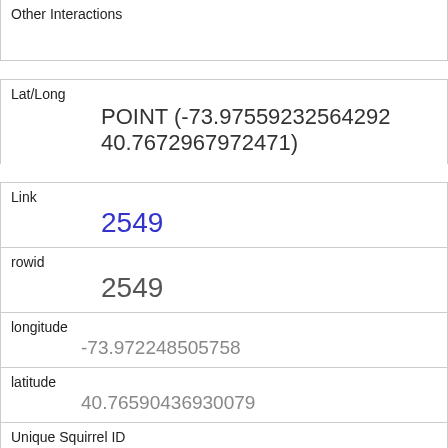Other Interactions
Lat/Long
POINT (-73.97559232564292 40.7672967972471)
Link
2549
rowid
2549
longitude
-73.972248505758
latitude
40.76590436930079
Unique Squirrel ID
3I-PM-1013-01
Hectare
03I
Shift
PM
Date